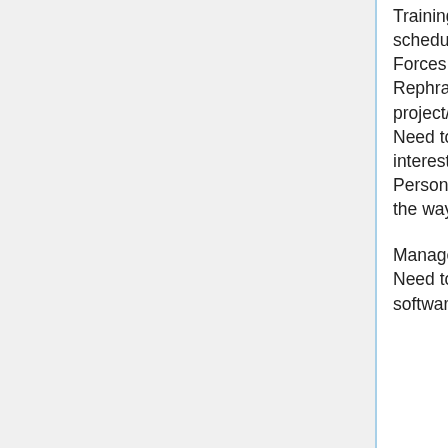Trainings for decision makers on technology does not always work - hard to schedule and gain their interest
Forces PMs to think carefully about projects and what they are doing
Rephrasing things in layman's terms can help PMs fully understand the project/technology
Need to communicate the changes fully to decision makers so they care/are interested in trainings
Personal training sessions for technophobes help them understand technology the way they need to
Managers that "think" they know a lot about technology - challenging, annoying
Need to be able to make a case for the technology being requested (new, cool software needs a purpose)